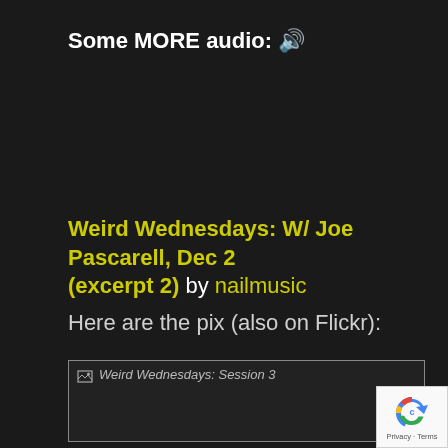Some MORE audio: 🔊
Weird Wednesdays: W/ Joe Pascarell, Dec 2 (excerpt 2) by nailmusic
Here are the pix (also on Flickr):
[Figure (photo): Broken image placeholder with alt text 'Weird Wednesdays: Session 3']
[Figure (logo): reCAPTCHA badge with Privacy and Terms links]